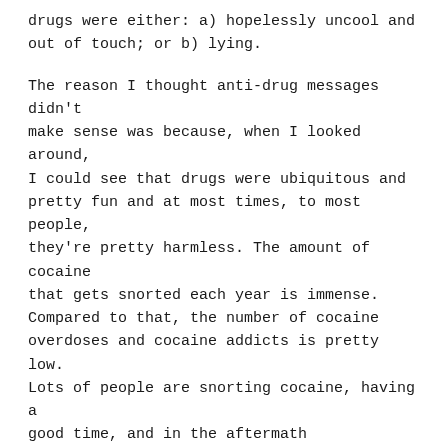drugs were either: a) hopelessly uncool and out of touch; or b) lying.
The reason I thought anti-drug messages didn't make sense was because, when I looked around, I could see that drugs were ubiquitous and pretty fun and at most times, to most people, they're pretty harmless. The amount of cocaine that gets snorted each year is immense. Compared to that, the number of cocaine overdoses and cocaine addicts is pretty low. Lots of people are snorting cocaine, having a good time, and in the aftermath experiencing nothing more than a racing heart and a depressed day or two. So anyone who categorically says that if you take drugs, then it'll turn out poorly is wrong. In fact, there's a very good chance that it won't turn out poorly.